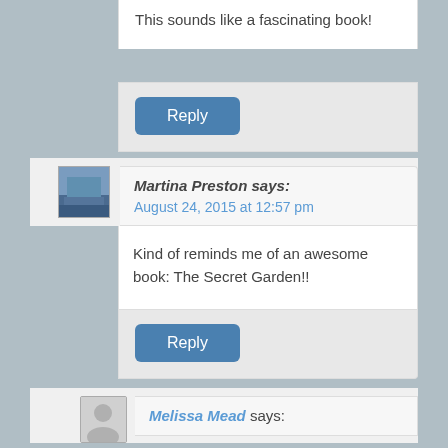This sounds like a fascinating book!
Reply
Martina Preston says:
August 24, 2015 at 12:57 pm
Kind of reminds me of an awesome book: The Secret Garden!!
Reply
Melissa Mead says: